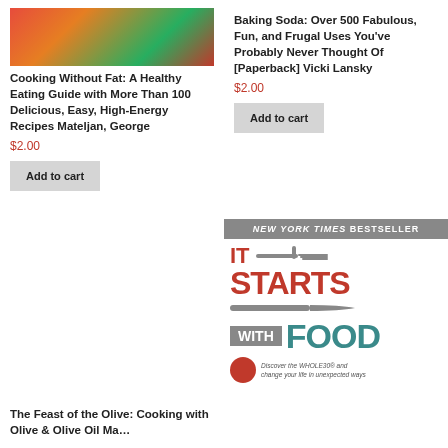[Figure (photo): Colorful food photo — red, orange, green vegetables]
Cooking Without Fat: A Healthy Eating Guide with More Than 100 Delicious, Easy, High-Energy Recipes Mateljan, George
$2.00
Add to cart
Baking Soda: Over 500 Fabulous, Fun, and Frugal Uses You've Probably Never Thought Of [Paperback] Vicki Lansky
$2.00
Add to cart
The Feast of the Olive: Cooking with Olive & Olive Oil Ma…
[Figure (photo): Book cover: It Starts With Food — New York Times Bestseller. Red and teal text with fork, knife, spoon graphics on white background. Subtitle: Discover the WHOLE30 and change your life in unexpected ways.]